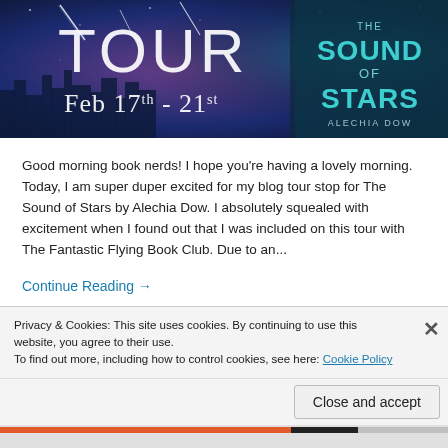[Figure (illustration): Blog tour banner image with dark blue/purple space background showing city skyline with falling stars/comets. Large white text reads 'TOUR' and 'Feb 17th - 21st'. On the right side is a book cover for 'The Sound of Stars' by Alechia Dow with teal neon lettering.]
Good morning book nerds! I hope you're having a lovely morning. Today, I am super duper excited for my blog tour stop for The Sound of Stars by Alechia Dow. I absolutely squealed with excitement when I found out that I was included on this tour with The Fantastic Flying Book Club. Due to an...
Continue Reading →
Privacy & Cookies: This site uses cookies. By continuing to use this website, you agree to their use.
To find out more, including how to control cookies, see here: Cookie Policy
Close and accept